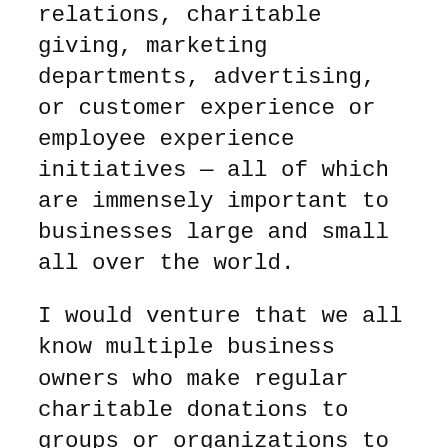relations, charitable giving, marketing departments, advertising, or customer experience or employee experience initiatives — all of which are immensely important to businesses large and small all over the world.
I would venture that we all know multiple business owners who make regular charitable donations to groups or organizations to which they feel a connection. I suspect nearly every business person we know has spent hours thinking about how to communicate more effectively with his or her tribe. Many business owners and leaders spend more time and resources learning to and attempting to communicate with their audiences than many performers have ever attempted! Further, I think that most business owners, operators